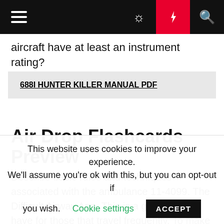Navigation bar with hamburger menu, moon icon, lightning icon, and search icon
aircraft have at least an instrument rating?
688I HUNTER KILLER MANUAL PDF
Air Drop Flashcards Preview
Describe basic rules and techniques associated with the ambulance 11-4099. The Difficult Airway App. This is a great app to have for those that travel frequently. To make this website work, we log user data and share it with processors. Registration Forgot your password? Army 18 delta medic USAF
This website uses cookies to improve your experience. We'll assume you're ok with this, but you can opt-out if you wish. Cookie settings ACCEPT